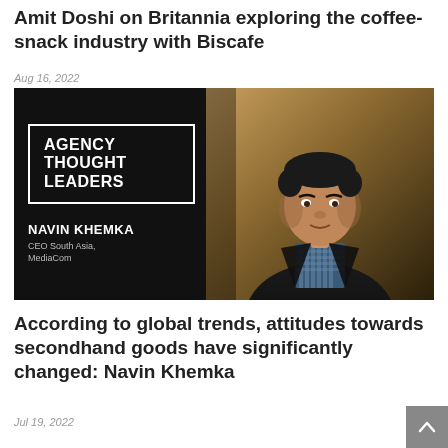Amit Doshi on Britannia exploring the coffee-snack industry with Biscafe
Aug 16, 2022
[Figure (photo): Agency Thought Leaders promotional image featuring Navin Khemka, CEO South Asia, MediaCom, with a portrait photo of a man in a checkered shirt and blazer on the right side against a warm brown background.]
According to global trends, attitudes towards secondhand goods have significantly changed: Navin Khemka
Jul 19, 2022